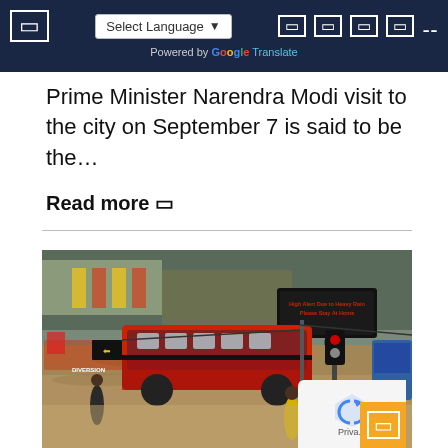Select Language | Powered by Google Translate
Prime Minister Narendra Modi visit to the city on September 7 is said to be the…
Read more ▷
[Figure (photo): Aerial view of a flooded street with a red city bus submerged in floodwater. A diversion sign is visible on the left. An electronic billboard on the right reads 'High Alert Due to Heavy Rain Please Stay At Home'. People in yellow raincoats are visible on the flooded road.]